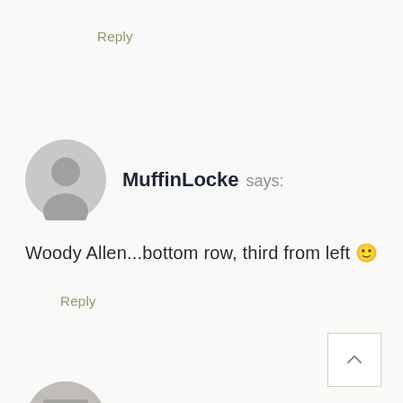Reply
MuffinLocke says:
Woody Allen...bottom row, third from left 🙂
Reply
Lory at Designthusiasm says: